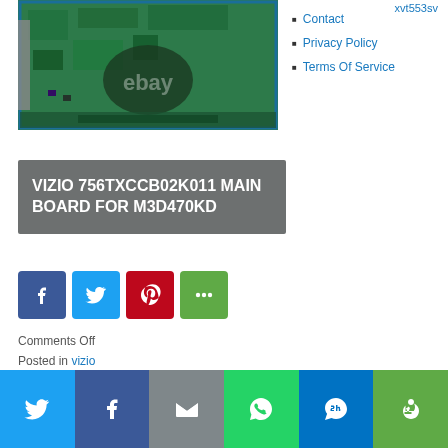[Figure (photo): Green circuit board / motherboard with eBay watermark]
xvt553sv
Contact
Privacy Policy
Terms Of Service
VIZIO 756TXCCB02K011 MAIN BOARD FOR M3D470KD
[Figure (infographic): Social share buttons: Facebook, Twitter, Pinterest, More]
Comments Off
Posted in vizio
Tagged 756txccb02k011, board, m3d470kd, main, vizio
[Figure (infographic): Bottom social share bar: Twitter, Facebook, Email, WhatsApp, SMS, More]